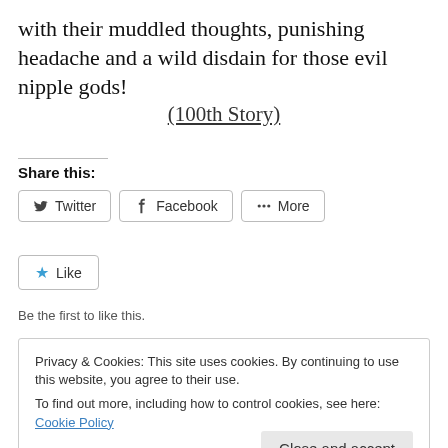with their muddled thoughts, punishing headache and a wild disdain for those evil nipple gods!
(100th Story)
Share this:
[Figure (other): Social share buttons: Twitter, Facebook, More]
[Figure (other): Like button with star icon]
Be the first to like this.
Privacy & Cookies: This site uses cookies. By continuing to use this website, you agree to their use.
To find out more, including how to control cookies, see here: Cookie Policy
Close and accept